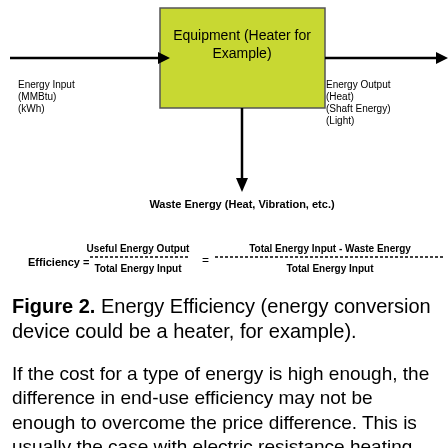[Figure (flowchart): Energy flow diagram showing equipment (heater for example) box in green/yellow with arrows: left arrow labeled Energy Input (MMBtu)(kWh), right arrow labeled Energy Output (Heat)(Shaft Energy)(Light), and downward arrow labeled Waste Energy (Heat, Vibration, etc.)]
Figure 2. Energy Efficiency (energy conversion device could be a heater, for example).
If the cost for a type of energy is high enough, the difference in end-use efficiency may not be enough to overcome the price difference. This is usually the case with electric resistance heating compared to natural gas heating. On the other